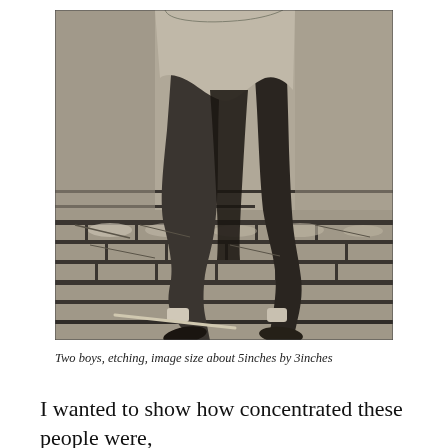[Figure (photo): Black and white photograph/etching of two boys, close-up view showing their legs and lower bodies, standing on what appears to be a stone or cobblestone surface. High contrast monochrome image with a halftone print quality.]
Two boys, etching, image size about 5inches by 3inches
I wanted to show how concentrated these people were,